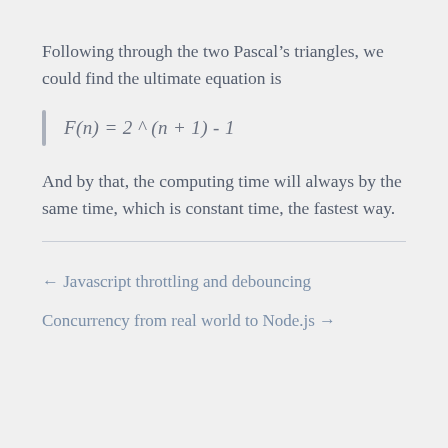Following through the two Pascal’s triangles, we could find the ultimate equation is
And by that, the computing time will always by the same time, which is constant time, the fastest way.
← Javascript throttling and debouncing
Concurrency from real world to Node.js →